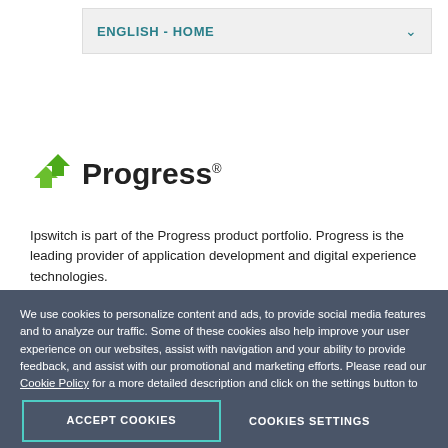ENGLISH - HOME
[Figure (logo): Progress software logo with green arrow-like icon and the word Progress with registered trademark symbol]
Ipswitch is part of the Progress product portfolio. Progress is the leading provider of application development and digital experience technologies.
About Us    Awards    Press Releases
We use cookies to personalize content and ads, to provide social media features and to analyze our traffic. Some of these cookies also help improve your user experience on our websites, assist with navigation and your ability to provide feedback, and assist with our promotional and marketing efforts. Please read our Cookie Policy for a more detailed description and click on the settings button to customize how the site uses cookies for you.
ACCEPT COOKIES
COOKIES SETTINGS